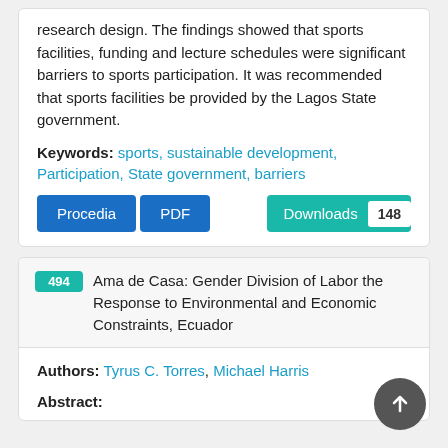research design. The findings showed that sports facilities, funding and lecture schedules were significant barriers to sports participation. It was recommended that sports facilities be provided by the Lagos State government.
Keywords: sports, sustainable development, Participation, State government, barriers
[Figure (other): Buttons row: blue 'Procedia' button, blue 'PDF' button, teal 'Downloads 148' button]
494 Ama de Casa: Gender Division of Labor the Response to Environmental and Economic Constraints, Ecuador
Authors: Tyrus C. Torres, Michael Harris
Abstract: